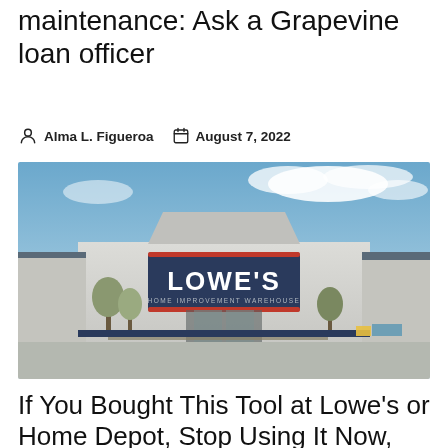maintenance: Ask a Grapevine loan officer
Alma L. Figueroa   August 7, 2022
[Figure (photo): Exterior photograph of a Lowe's Home Improvement Warehouse store with blue sky and clouds in the background]
If You Bought This Tool at Lowe's or Home Depot, Stop Using It Now,